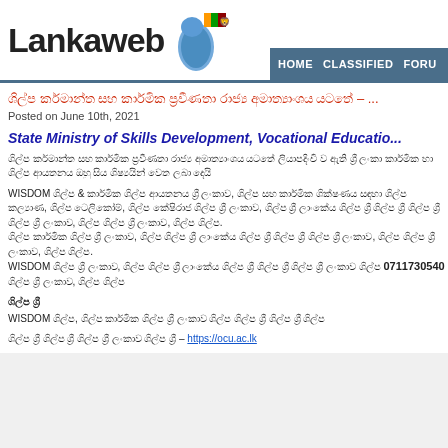[Figure (logo): Lankaweb logo with Sri Lanka map and flag]
HOME   CLASSIFIED   FORU
Sinhala text title (red) - article headline
Posted on June 10th, 2021
State Ministry of Skills Development, Vocational Educatio...
Sinhala body paragraph 1
Sinhala body paragraph 2
WISDOM ... 0711730540 ... Sinhala text paragraph 3
Sinhala short heading
Sinhala paragraph line
Sinhala text – https://ocu.ac.lk